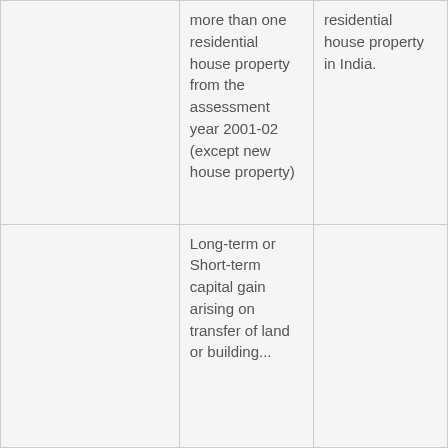|  | more than one residential house property from the assessment year 2001-02 (except new house property) | residential house property in India. |
|  | Long-term or Short-term capital gain arising on transfer of land or building... |  |